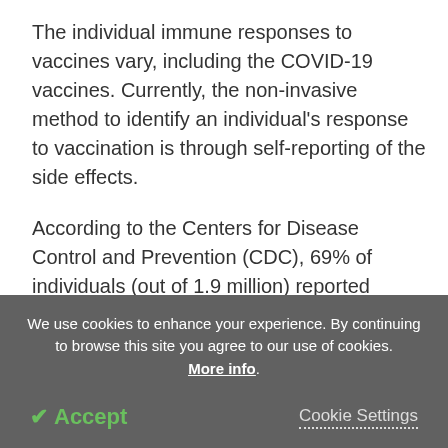The individual immune responses to vaccines vary, including the COVID-19 vaccines. Currently, the non-invasive method to identify an individual's response to vaccination is through self-reporting of the side effects.
According to the Centers for Disease Control and Prevention (CDC), 69% of individuals (out of 1.9 million) reported systemic side effects after the second dose of an mRNA vaccine. The side effects include systemic inflammation, fatigue, muscle pain, chills, fever, and joint pain. Around 25.6% to 53.9% of individuals had
We use cookies to enhance your experience. By continuing to browse this site you agree to our use of cookies. More info.
✔ Accept
Cookie Settings